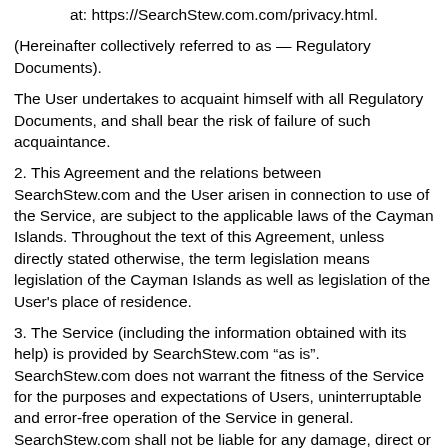at: https://SearchStew.com.com/privacy.html.
(Hereinafter collectively referred to as — Regulatory Documents).
The User undertakes to acquaint himself with all Regulatory Documents, and shall bear the risk of failure of such acquaintance.
2. This Agreement and the relations between SearchStew.com and the User arisen in connection to use of the Service, are subject to the applicable laws of the Cayman Islands. Throughout the text of this Agreement, unless directly stated otherwise, the term legislation means legislation of the Cayman Islands as well as legislation of the User's place of residence.
3. The Service (including the information obtained with its help) is provided by SearchStew.com “as is”. SearchStew.com does not warrant the fitness of the Service for the purposes and expectations of Users, uninterruptable and error-free operation of the Service in general. SearchStew.com shall not be liable for any damage, direct or indirect, caused to the User or any third party by use or inability to use the Service and extension installed on the User’s browser. SearchStew.com shall not reimburse the User or any third party for such damages.
4. The User shall be independently liable to third parties for its